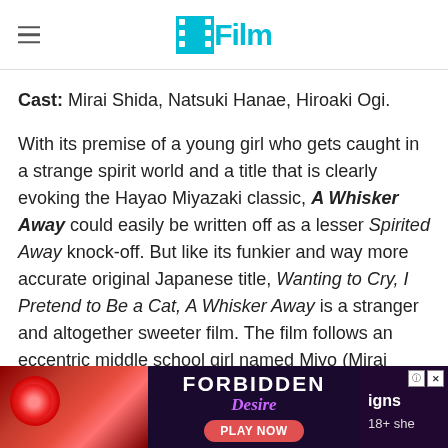/Film
Cast: Mirai Shida, Natsuki Hanae, Hiroaki Ogi.
With its premise of a young girl who gets caught in a strange spirit world and a title that is clearly evoking the Hayao Miyazaki classic, A Whisker Away could easily be written off as a lesser Spirited Away knock-off. But like its funkier and way more accurate original Japanese title, Wanting to Cry, I Pretend to Be a Cat, A Whisker Away is a stranger and altogether sweeter film. The film follows an eccentric middle school girl named Miyo (Mirai Shida), who is infatuated with a quiet classmate of hers, H...igns of sha...she
[Figure (screenshot): Advertisement banner overlay at bottom of page showing 'FORBIDDEN Desire' ad with PLAY NOW button and 18+ label]